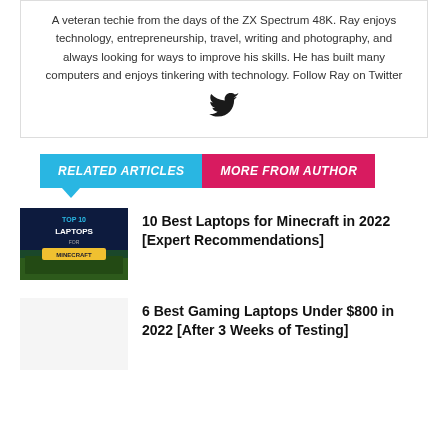A veteran techie from the days of the ZX Spectrum 48K. Ray enjoys technology, entrepreneurship, travel, writing and photography, and always looking for ways to improve his skills. He has built many computers and enjoys tinkering with technology. Follow Ray on Twitter
[Figure (illustration): Twitter bird icon]
RELATED ARTICLES
MORE FROM AUTHOR
[Figure (photo): Thumbnail image for 10 Best Laptops for Minecraft in 2022 article showing a laptop and text TOP 10 LAPTOPS FOR MINECRAFT]
10 Best Laptops for Minecraft in 2022 [Expert Recommendations]
6 Best Gaming Laptops Under $800 in 2022 [After 3 Weeks of Testing]